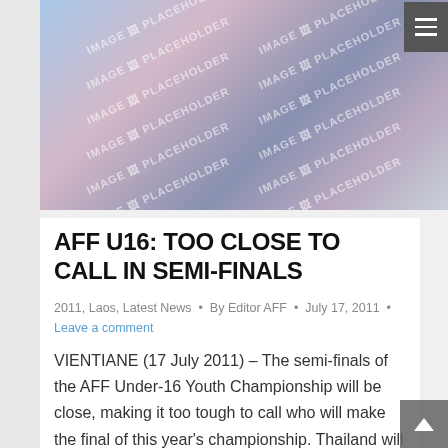[Figure (photo): Hero image placeholder with blurred abstract blue, purple and pink gradient background with IMAGE PLACEHOLDER watermark text repeated across it. Dark hamburger menu icon in top right corner.]
AFF U16: TOO CLOSE TO CALL IN SEMI-FINALS
2011, Laos, Latest News · By Editor AFF · July 17, 2011 · Leave a comment
VIENTIANE (17 July 2011) – The semi-finals of the AFF Under-16 Youth Championship will be close, making it too tough to call who will make the final of this year's championship. Thailand will take on